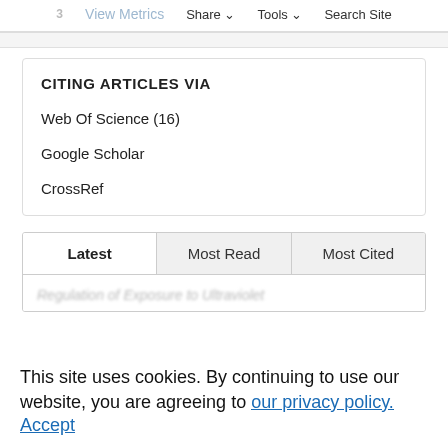3  View Metrics  Share  Tools  Search Site
CITING ARTICLES VIA
Web Of Science (16)
Google Scholar
CrossRef
Latest  Most Read  Most Cited
Regulation of Exposure to Ultraviolet
This site uses cookies. By continuing to use our website, you are agreeing to our privacy policy. Accept